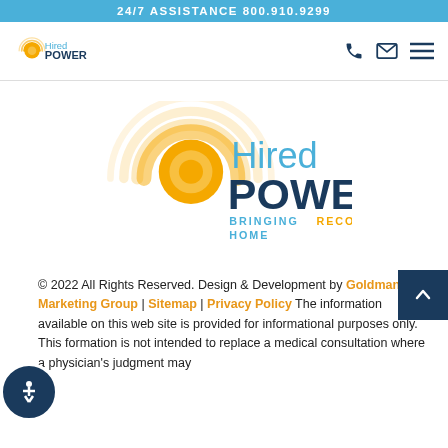24/7 ASSISTANCE 800.910.9299
[Figure (logo): Hired Power logo (small) with phone, email, and hamburger menu icons in navigation bar]
[Figure (logo): Hired Power large center logo with tagline BRINGING RECOVERY HOME]
© 2022 All Rights Reserved. Design & Development by Goldman Marketing Group | Sitemap | Privacy Policy The information available on this web site is provided for informational purposes only. This formation is not intended to replace a medical consultation where a physician's judgment may